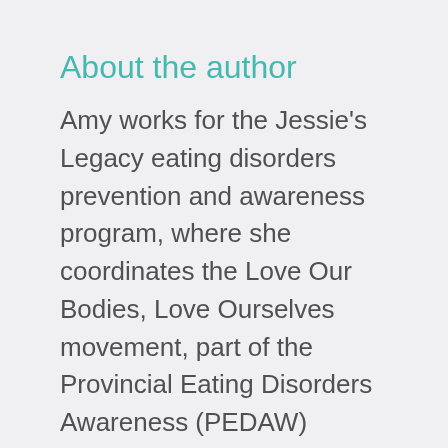About the author
Amy works for the Jessie's Legacy eating disorders prevention and awareness program, where she coordinates the Love Our Bodies, Love Ourselves movement, part of the Provincial Eating Disorders Awareness (PEDAW) campaign. Amy also presents at schools, conferences, and workplaces on disordered eating, self-esteem and body